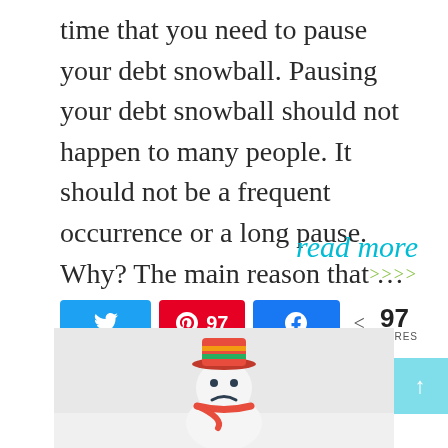time that you need to pause your debt snowball. Pausing your debt snowball should not happen to many people. It should not be a frequent occurrence or a long pause. Why? The main reason that …
read more >>>
[Figure (infographic): Social sharing buttons: Twitter (blue), Pinterest (red, 97 saves), Facebook (blue), and share count showing 97 SHARES]
[Figure (photo): A small snowman figurine wearing a colorful knit hat and scarf with a sad/frowning face expression, photographed outdoors in a snowy setting]